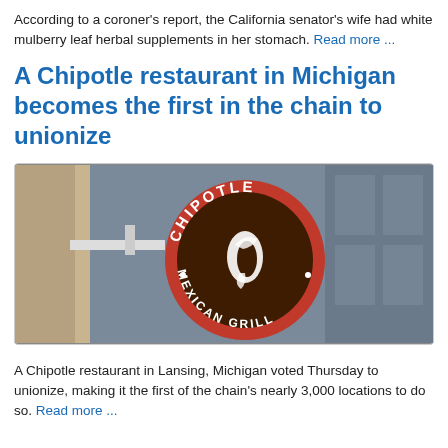According to a coroner's report, the California senator's wife had white mulberry leaf herbal supplements in her stomach. Read more ...
A Chipotle restaurant in Michigan becomes the first in the chain to unionize
[Figure (photo): A round Chipotle Mexican Grill sign hanging outside a building, with the red and brown logo clearly visible.]
A Chipotle restaurant in Lansing, Michigan voted Thursday to unionize, making it the first of the chain's nearly 3,000 locations to do so. Read more ...